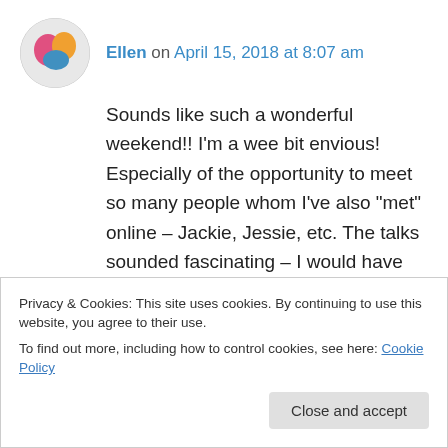Ellen on April 15, 2018 at 8:07 am
Sounds like such a wonderful weekend!! I'm a wee bit envious! Especially of the opportunity to meet so many people whom I've also “met” online – Jackie, Jessie, etc. The talks sounded fascinating – I would have loved to have heard Lisa Blair in particular – her voyage was so inspirational! – and of course, yours! I really appreciated your (and Charlotte's) point about how nasty people can be behind a keyboard,
Privacy & Cookies: This site uses cookies. By continuing to use this website, you agree to their use.
To find out more, including how to control cookies, see here: Cookie Policy
Close and accept